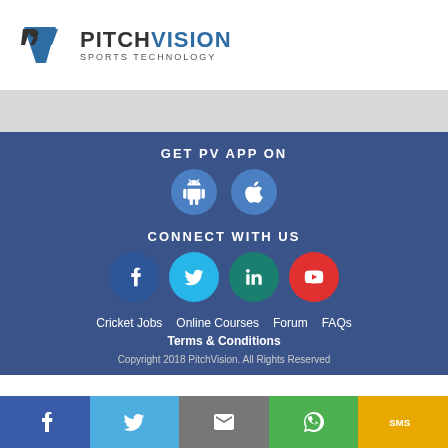[Figure (logo): PitchVision Sports Technology logo with PV monogram icon]
GET PV APP ON
[Figure (infographic): Android and Apple app store download buttons as blue circles with icons]
CONNECT WITH US
[Figure (infographic): Social media icons: Facebook, Twitter, LinkedIn, YouTube as colored circles]
Cricket Jobs   Online Courses   Forum   FAQs
Terms & Conditions
Copyright 2018 PitchVision. All Rights Reserved
[Figure (infographic): Bottom action bar with Facebook, Twitter, Email, WhatsApp, SMS buttons]